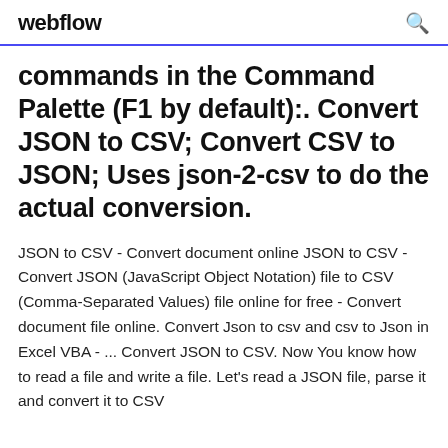webflow
commands in the Command Palette (F1 by default):. Convert JSON to CSV; Convert CSV to JSON; Uses json-2-csv to do the actual conversion.
JSON to CSV - Convert document online JSON to CSV - Convert JSON (JavaScript Object Notation) file to CSV (Comma-Separated Values) file online for free - Convert document file online. Convert Json to csv and csv to Json in Excel VBA - ... Convert JSON to CSV. Now You know how to read a file and write a file. Let's read a JSON file, parse it and convert it to CSV